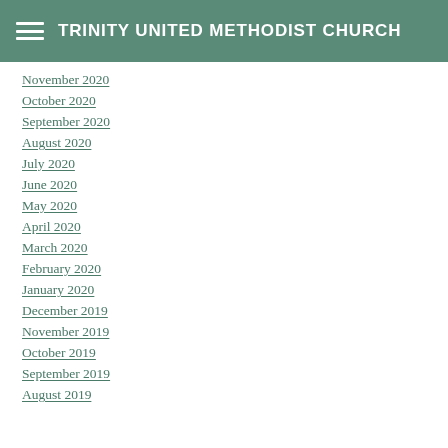TRINITY UNITED METHODIST CHURCH
November 2020
October 2020
September 2020
August 2020
July 2020
June 2020
May 2020
April 2020
March 2020
February 2020
January 2020
December 2019
November 2019
October 2019
September 2019
August 2019